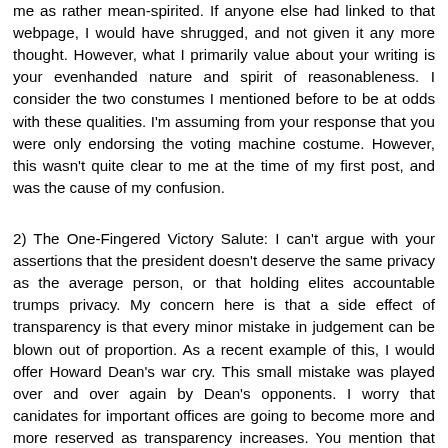me as rather mean-spirited. If anyone else had linked to that webpage, I would have shrugged, and not given it any more thought. However, what I primarily value about your writing is your evenhanded nature and spirit of reasonableness. I consider the two constumes I mentioned before to be at odds with these qualities. I'm assuming from your response that you were only endorsing the voting machine costume. However, this wasn't quite clear to me at the time of my first post, and was the cause of my confusion.
2) The One-Fingered Victory Salute: I can't argue with your assertions that the president doesn't deserve the same privacy as the average person, or that holding elites accountable trumps privacy. My concern here is that a side effect of transparency is that every minor mistake in judgement can be blown out of proportion. As a recent example of this, I would offer Howard Dean's war cry. This small mistake was played over and over again by Dean's opponents. I worry that canidates for important offices are going to become more and more reserved as transparency increases. You mention that Bush has only faced a tenth as many news conferences as any recent president, and